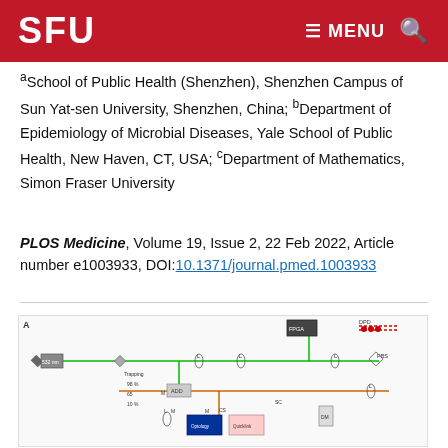SFU | MENU 🔍
aSchool of Public Health (Shenzhen), Shenzhen Campus of Sun Yat-sen University, Shenzhen, China; bDepartment of Epidemiology of Microbial Diseases, Yale School of Public Health, New Haven, CT, USA; cDepartment of Mathematics, Simon Fraser University
PLOS Medicine, Volume 19, Issue 2, 22 Feb 2022, Article number e1003933, DOI:10.1371/journal.pmed.1003933
[Figure (engineering-diagram): Optical/laser experimental setup diagram labeled A, showing laser paths, mirrors, beam splitters, lenses, detectors including PBS, DPD, FPGA components, with green and orange beam path lines]